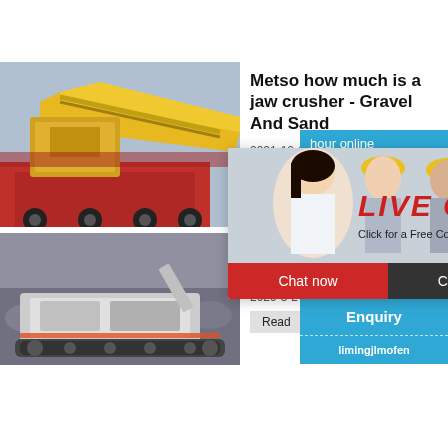[Figure (photo): Yellow industrial jaw crusher machine on a red truck, construction equipment]
Metso how much is a jaw crusher - Gravel And Sand
2021-10-15   Metso How ...
[Figure (photo): Live Chat popup overlay with workers in hard hats, red LIVE CHAT heading, Chat now and Chat later buttons]
[Figure (photo): Right blue panel with hour online text, jaw crusher image, Click me to chat>> button, Enquiry button, limingjlmofen button]
[Figure (photo): Mobile crusher machine on tracks in a quarry site with rubble in background]
How mu run a to
2020-5-2 ...
Read
limingjlmofen